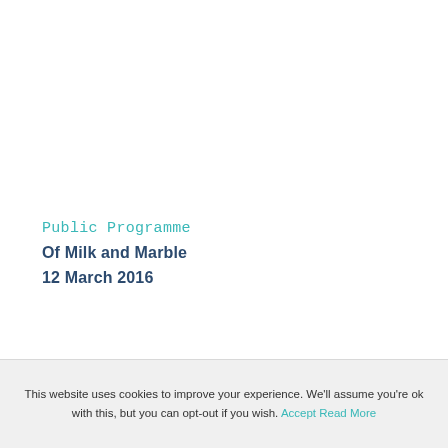Public Programme
Of Milk and Marble
12 March 2016
This website uses cookies to improve your experience. We'll assume you're ok with this, but you can opt-out if you wish. Accept  Read More